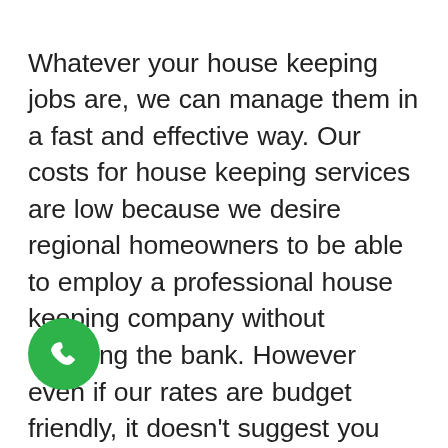Whatever your house keeping jobs are, we can manage them in a fast and effective way. Our costs for house keeping services are low because we desire regional homeowners to be able to employ a professional house keeping company without breaking the bank. However even if our rates are budget friendly, it doesn't suggest you will get a bad quality cleaning service. We guarantee that you will be amazed by the quality of our Cornelscourt cleaning services. Unlike other cleaning companies, we have a refund assurance. So you have nothing to lose! Reserve a cleaner and you will conserve both money and time! Employ us for cleaning and the outcomes will make you beam from ear
[Figure (other): Green circular phone/call button icon in the bottom-left area of the page]